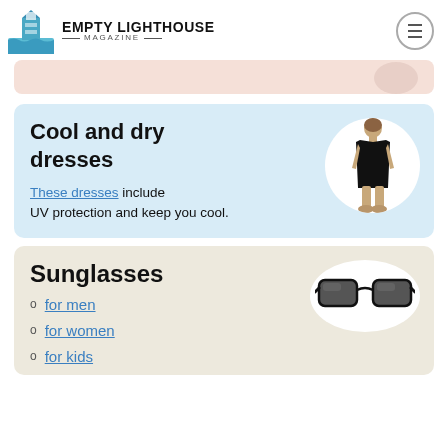EMPTY LIGHTHOUSE MAGAZINE
[Figure (illustration): Light blue card with partial pink banner showing at top]
Cool and dry dresses
These dresses include UV protection and keep you cool.
[Figure (photo): Woman in a black sleeveless dress, shown in circular crop]
Sunglasses
[Figure (photo): Black sunglasses shown in oval white background]
for men
for women
for kids